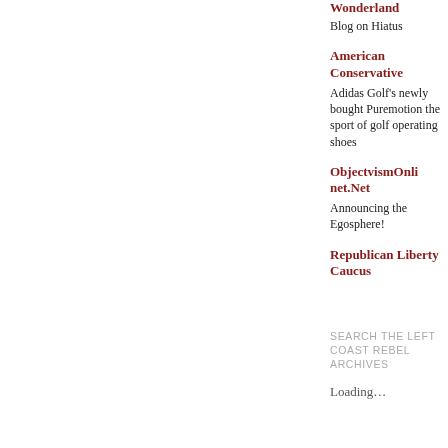Wonderland
Blog on Hiatus
American Conservative
Adidas Golf's newly bought Puremotion the sport of golf operating shoes
ObjectvismOnlinet.Net
Announcing the Egosphere!
Republican Liberty Caucus
SEARCH THE LEFT COAST REBEL ARCHIVES
Loading…